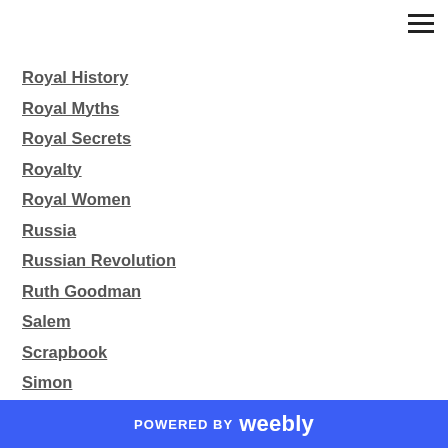Royal History
Royal Myths
Royal Secrets
Royalty
Royal Women
Russia
Russian Revolution
Ruth Goodman
Salem
Scrapbook
Simon
South America
Spain
Sparta
SS Atlantic
POWERED BY weebly